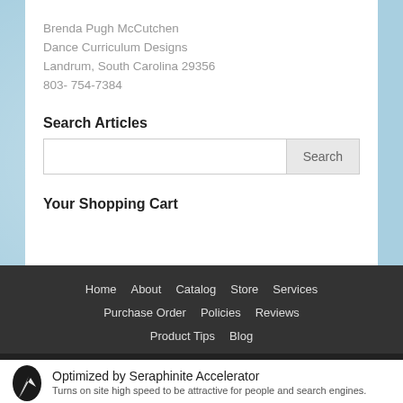Brenda Pugh McCutchen
Dance Curriculum Designs
Landrum, South Carolina 29356
803- 754-7384
Search Articles
Your Shopping Cart
Home   About   Catalog   Store   Services   Purchase Order   Policies   Reviews   Product Tips   Blog
Designed by Elegant Themes | Powered by WordPress
Optimized by Seraphinite Accelerator
Turns on site high speed to be attractive for people and search engines.